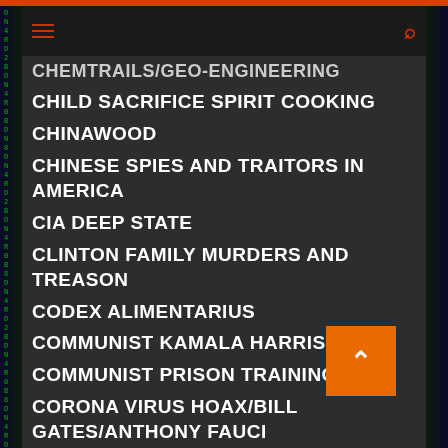Navigation menu header with hamburger icon and search icon
CHEMTRAILS/GEO-ENGINEERING
CHILD SACRIFICE SPIRIT COOKING
CHINAWOOD
CHINESE SPIES AND TRAITORS IN AMERICA
CIA DEEP STATE
CLINTON FAMILY MURDERS AND TREASON
CODEX ALIMENTARIUS
COMMUNIST KAMALA HARRIS
COMMUNIST PRISON TRAINING
CORONA VIRUS HOAX/BILL GATES/ANTHONY FAUCI
CORPORATE FASCISM
CORRUPT JUDGES AND COURTS
CPS CHILD KIDNAPPING RINGS/DYNCORP
CRIMINAL BANKSTERS